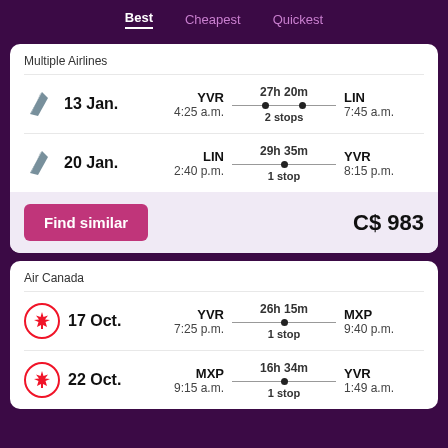Best | Cheapest | Quickest
Multiple Airlines
| Date | From | Duration/Stops | To |
| --- | --- | --- | --- |
| 13 Jan. | YVR 4:25 a.m. | 27h 20m 2 stops | LIN 7:45 a.m. |
| 20 Jan. | LIN 2:40 p.m. | 29h 35m 1 stop | YVR 8:15 p.m. |
Find similar   C$ 983
Air Canada
| Date | From | Duration/Stops | To |
| --- | --- | --- | --- |
| 17 Oct. | YVR 7:25 p.m. | 26h 15m 1 stop | MXP 9:40 p.m. |
| 22 Oct. | MXP 9:15 a.m. | 16h 34m 1 stop | YVR 1:49 a.m. |